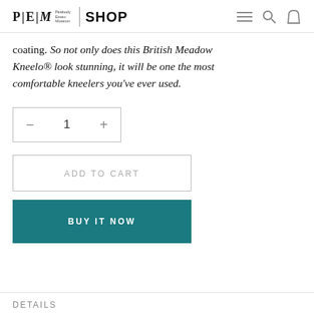P|E|M Peabody Essex Museum | SHOP
coating. So not only does this British Meadow Kneelo® look stunning, it will be one the most comfortable kneelers you've ever used.
— 1 +
ADD TO CART
BUY IT NOW
DETAILS